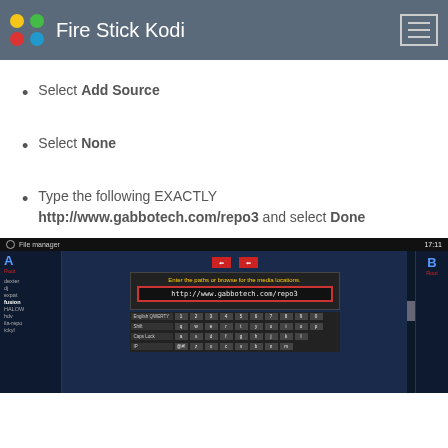Fire Stick Kodi
Select Add Source
Select None
Type the following EXACTLY http://www.gabbotech.com/repo3 and select Done
[Figure (screenshot): Kodi File Manager dialog showing URL http://www.gabbotech.com/repo3 typed into the input box, with an on-screen QWERTY keyboard visible and file browser panels on left and right.]